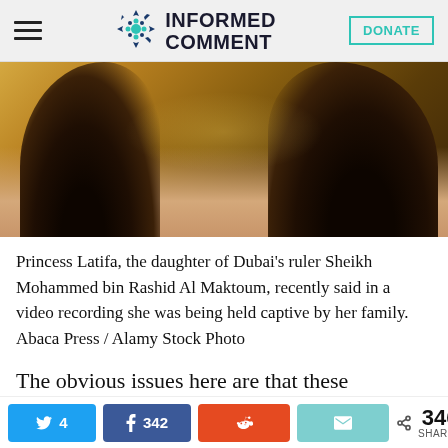INFORMED COMMENT — DONATE
[Figure (photo): Close-up photo of a woman with dark hair and a decorative necklace against a golden background — Princess Latifa]
Princess Latifa, the daughter of Dubai's ruler Sheikh Mohammed bin Rashid Al Maktoum, recently said in a video recording she was being held captive by her family. Abaca Press / Alamy Stock Photo
The obvious issues here are that these
4  342  346 SHARES